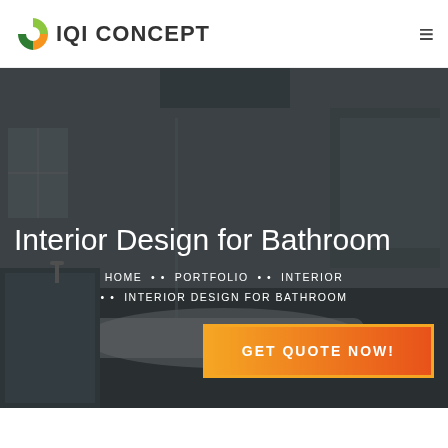IQI CONCEPT
[Figure (screenshot): Dark-toned interior photo of a modern white bathroom with bathtub, sink, mirror, and large windows, used as hero background image]
Interior Design for Bathroom
HOME • • PORTFOLIO • • INTERIOR • • INTERIOR DESIGN FOR BATHROOM
GET QUOTE NOW!